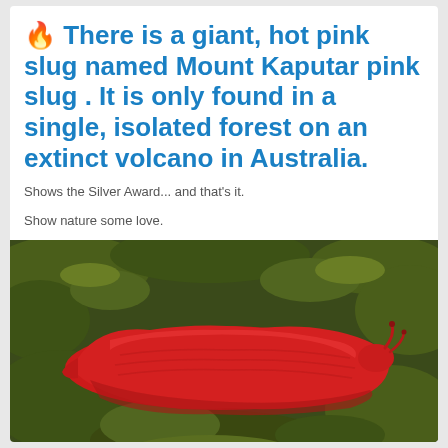🔥 There is a giant, hot pink slug named Mount Kaputar pink slug . It is only found in a single, isolated forest on an extinct volcano in Australia.
Shows the Silver Award... and that's it.
Show nature some love.
[Figure (photo): A large bright red/hot pink slug resting on green moss. The slug is elongated and glossy, photographed close-up against a background of dense green moss and foliage.]